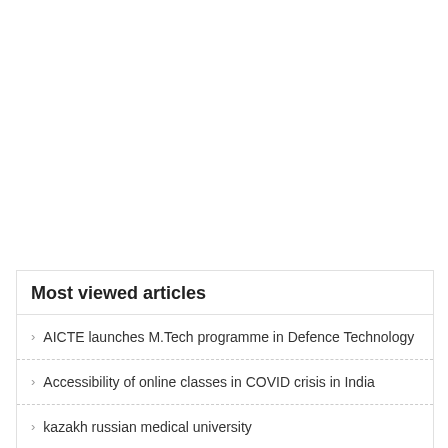Most viewed articles
AICTE launches M.Tech programme in Defence Technology
Accessibility of online classes in COVID crisis in India
kazakh russian medical university
NTA Examinations Revised Dates' List